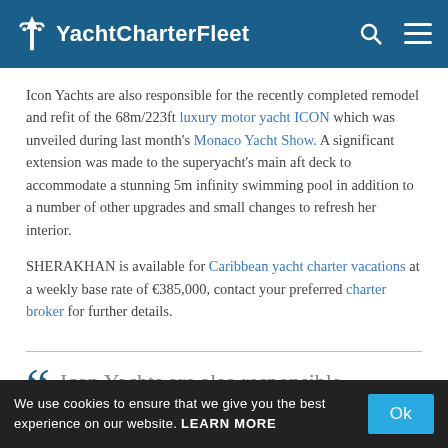YachtCharterFleet
Icon Yachts are also responsible for the recently completed remodel and refit of the 68m/223ft luxury motor yacht ICON which was unveiled during last month's Monaco Yacht Show. A significant extension was made to the superyacht's main aft deck to accommodate a stunning 5m infinity swimming pool in addition to a number of other upgrades and small changes to refresh her interior.
SHERAKHAN is available for Caribbean yacht charter vacations at a weekly base rate of €385,000, contact your preferred charter broker for further details.
Icon Yachts are also responsible for the recently completed remodel and refit of the